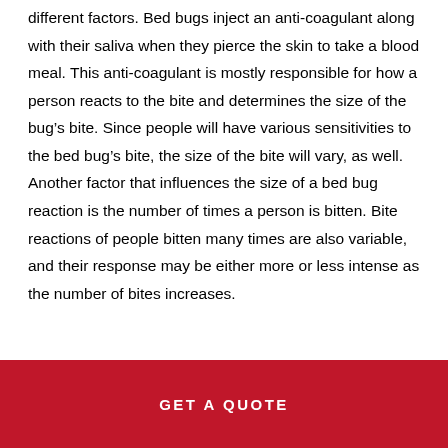different factors. Bed bugs inject an anti-coagulant along with their saliva when they pierce the skin to take a blood meal. This anti-coagulant is mostly responsible for how a person reacts to the bite and determines the size of the bug's bite. Since people will have various sensitivities to the bed bug's bite, the size of the bite will vary, as well. Another factor that influences the size of a bed bug reaction is the number of times a person is bitten. Bite reactions of people bitten many times are also variable, and their response may be either more or less intense as the number of bites increases.
GET A QUOTE